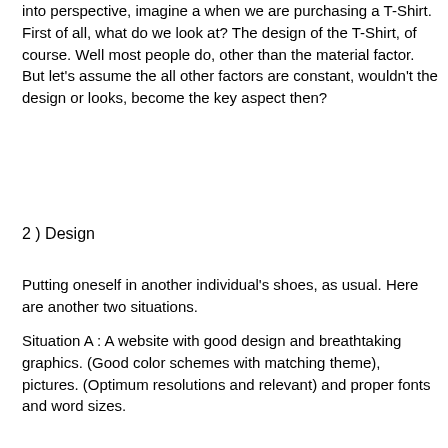into perspective, imagine a when we are purchasing a T-Shirt. First of all, what do we look at? The design of the T-Shirt, of course. Well most people do, other than the material factor. But let's assume the all other factors are constant, wouldn't the design or looks, become the key aspect then?
2 )  Design
Putting oneself in another individual's shoes, as usual. Here are another two situations.
Situation A : A website with good design and breathtaking graphics. (Good color schemes with matching theme), pictures. (Optimum resolutions and relevant) and proper fonts and word sizes.
Situation B : A website inversely equipped with hideous graphics and pictures in terms of resolution, quality and relevancy. (Red pictures with a bright green background) Fonts used were not matching albeit too fanciful. (Too small, artsy font-types)
Situation A : visitors that enter the website are immediately